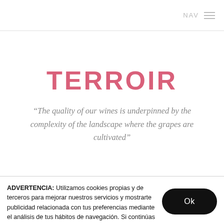NAV
TERROIR
“The quality of our wines is underpinned by the complexity of the landscape where the grapes are cultivated”
ADVERTENCIA: Utilizamos cookies propias y de terceros para mejorar nuestros servicios y mostrarte publicidad relacionada con tus preferencias mediante el análisis de tus hábitos de navegación. Si continúas navegando, consideramos que aceptas su uso.